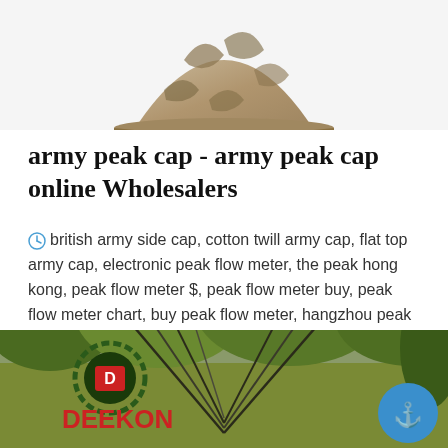[Figure (photo): Top portion of a camouflage army peak cap, showing the brim and crown against a white background]
army peak cap - army peak cap online Wholesalers
british army side cap, cotton twill army cap, flat top army cap, electronic peak flow meter, the peak hong kong, peak flow meter $, peak flow meter buy, peak flow meter chart, buy peak flow meter, hangzhou peak chemical co ltd, peak performance down jacket, peak rear view mirror backup camera, peak 600 amp jump starter, peak rear ...
[Figure (photo): Outdoor garden/yard scene with a DEEKON branded military tent or hammock setup. Logo shows a circular emblem with letter D and the word DEEKON in red. A blue circular badge with an anchor icon appears in the bottom right corner.]